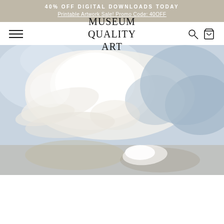40% OFF DIGITAL DOWNLOADS TODAY
Printable Artwork Sale! Promo Code: 40OFF
MUSEUM QUALITY ART
[Figure (illustration): Abstract painting with soft blue-grey tones and white cloud-like or wave forms, impressionistic style with muted earth tones at bottom]